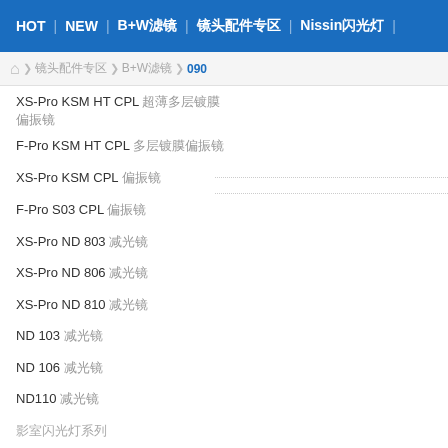HOT | NEW | B+W滤镜 | 镜头配件专区 | Nissin闪光灯
首页 > 镜头配件专区 > B+W滤镜 > 090
XS-Pro KSM HT CPL 超薄多层镀膜 偏振镜
F-Pro KSM HT CPL 多层镀膜偏振镜
XS-Pro KSM CPL 偏振镜
F-Pro S03 CPL 偏振镜
XS-Pro ND 803 减光镜
XS-Pro ND 806 减光镜
XS-Pro ND 810 减光镜
ND 103 减光镜
ND 106 减光镜
ND110 减光镜
影室闪光灯系列
486 UV/IR CUT